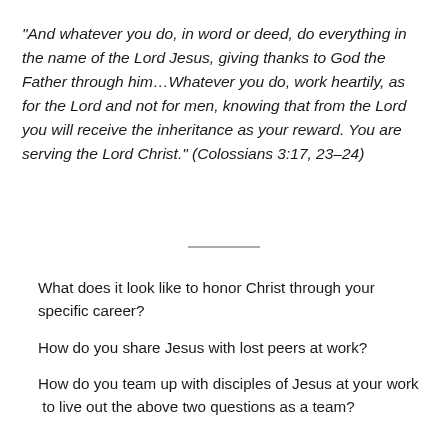“And whatever you do, in word or deed, do everything in the name of the Lord Jesus, giving thanks to God the Father through him…Whatever you do, work heartily, as for the Lord and not for men, knowing that from the Lord you will receive the inheritance as your reward. You are serving the Lord Christ.” (Colossians 3:17, 23–24)
What does it look like to honor Christ through your specific career?
How do you share Jesus with lost peers at work?
How do you team up with disciples of Jesus at your work  to live out the above two questions as a team?